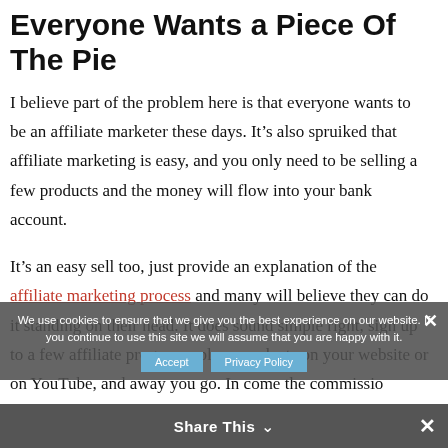Everyone Wants a Piece Of The Pie
I believe part of the problem here is that everyone wants to be an affiliate marketer these days. It’s also spruiked that affiliate marketing is easy, and you only need to be selling a few products and the money will flow into your bank account.
It’s an easy sell too, just provide an explanation of the affiliate marketing process and many will believe they can do it standing on their head. It does sound simple right, sign up to a few affiliate programs, place products on your website or on YouTube, and away you go. In come the commissio…